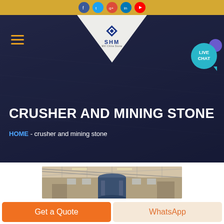Social media icons bar: Facebook, Twitter, Google+, LinkedIn, YouTube
[Figure (screenshot): SHM company website hero section with navigation hamburger menu on left, SHM logo in white trapezoid at top center, LIVE CHAT bubble on right, dark navy blue background with worker hands in background]
CRUSHER AND MINING STONE
HOME - crusher and mining stone
[Figure (photo): Interior of industrial factory or warehouse with steel roof trusses and large cylindrical machinery visible]
Get a Quote
WhatsApp